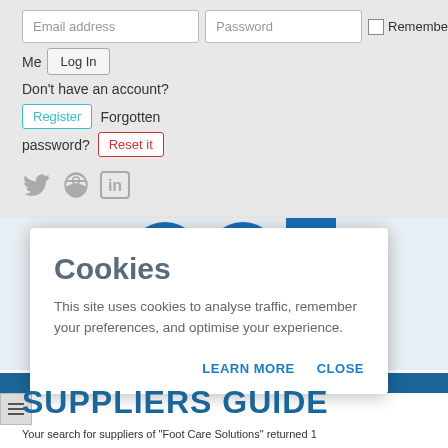Email address
Password
Remember Me
Log In
Don't have an account?
Register
Forgotten password?
Reset it
[Figure (screenshot): Social media icons: Twitter bird, RSS feed, LinkedIn]
[Figure (screenshot): Partially visible blue circular logo elements and blue navigation bar]
Cookies
This site uses cookies to analyse traffic, remember your preferences, and optimise your experience.
LEARN MORE
CLOSE
SUPPLIERS GUIDE
Your search for suppliers of "Foot Care Solutions" returned 1